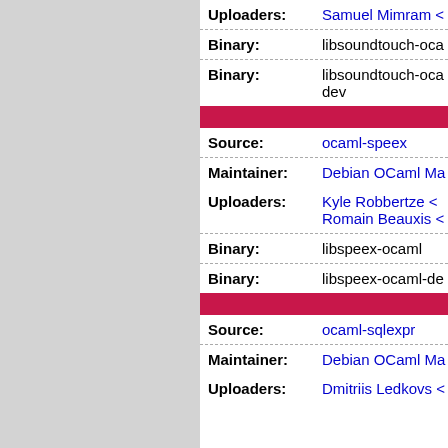| Field | Value |
| --- | --- |
| Uploaders: | Samuel Mimram < |
| Binary: | libsoundtouch-oca |
| Binary: | libsoundtouch-oca dev |
| Source: | ocaml-speex |
| Maintainer: | Debian OCaml Ma |
| Uploaders: | Kyle Robbertze < Romain Beauxis < |
| Binary: | libspeex-ocaml |
| Binary: | libspeex-ocaml-de |
| Source: | ocaml-sqlexpr |
| Maintainer: | Debian OCaml Ma |
| Uploaders: | Dmitriis Ledkovs < |